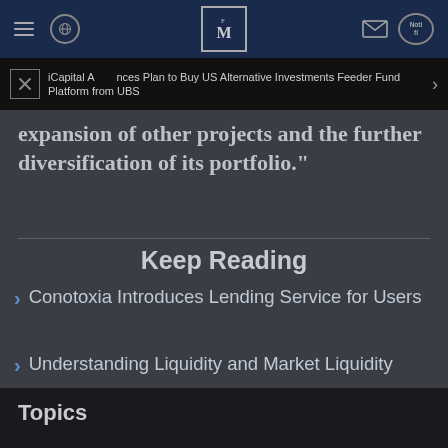FM (Finance Magnates logo) navigation header with hamburger menu, globe icon, FM logo, mail icon, and navigation pill
iCapital Announces Plan to Buy US Alternative Investments Feeder Fund Platform from UBS
expansion of other projects and the further diversification of its portfolio."
Keep Reading
Conotoxia Introduces Lending Service for Users
Understanding Liquidity and Market Liquidity
Topics